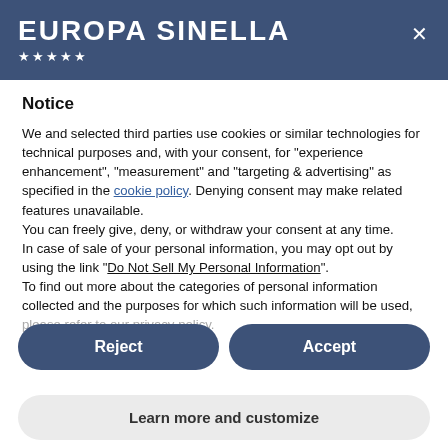EUROPA SINELLA ★★★★★
Notice
We and selected third parties use cookies or similar technologies for technical purposes and, with your consent, for "experience enhancement", "measurement" and "targeting & advertising" as specified in the cookie policy. Denying consent may make related features unavailable.
You can freely give, deny, or withdraw your consent at any time.
In case of sale of your personal information, you may opt out by using the link "Do Not Sell My Personal Information".
To find out more about the categories of personal information collected and the purposes for which such information will be used, please refer to our privacy policy.
Reject
Accept
Learn more and customize